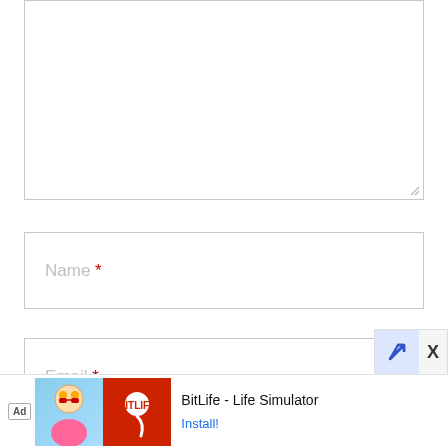[Figure (screenshot): A comment form with a large textarea (mostly empty, with resize handle), a Name input field with placeholder 'Name *', and an Email input field with placeholder 'Email *'. At the bottom is an ad banner for BitLife - Life Simulator with an Install button and a close (X) button.]